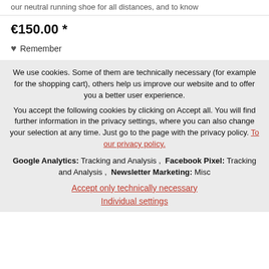our neutral running shoe for all distances, and to know
€150.00 *
♥ Remember
We use cookies. Some of them are technically necessary (for example for the shopping cart), others help us improve our website and to offer you a better user experience.
You accept the following cookies by clicking on Accept all. You will find further information in the privacy settings, where you can also change your selection at any time. Just go to the page with the privacy policy. To our privacy policy.
Google Analytics: Tracking and Analysis , Facebook Pixel: Tracking and Analysis , Newsletter Marketing: Misc
Accept only technically necessary
Individual settings